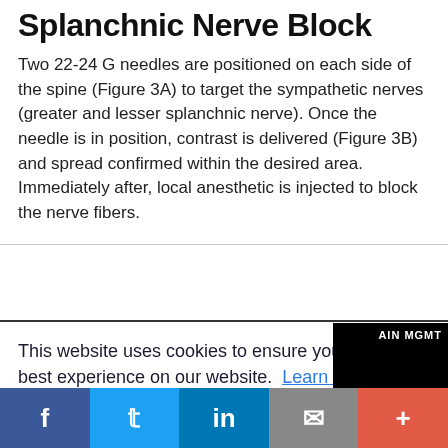Splanchnic Nerve Block
Two 22-24 G needles are positioned on each side of the spine (Figure 3A) to target the sympathetic nerves (greater and lesser splanchnic nerve). Once the needle is in position, contrast is delivered (Figure 3B) and spread confirmed within the desired area. Immediately after, local anesthetic is injected to block the nerve fibers.
This website uses cookies to ensure you get the best experience on our website. Learn more
Got it!